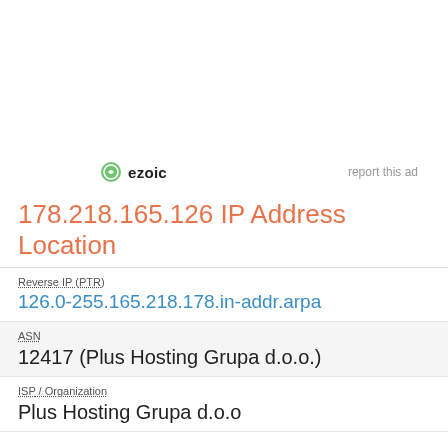[Figure (logo): Ezoic logo with green circular icon and bold 'ezoic' text, alongside 'report this ad' link]
178.218.165.126 IP Address Location
Reverse IP (PTR)
126.0-255.165.218.178.in-addr.arpa
ASN
12417 (Plus Hosting Grupa d.o.o.)
ISP / Organization
Plus Hosting Grupa d.o.o